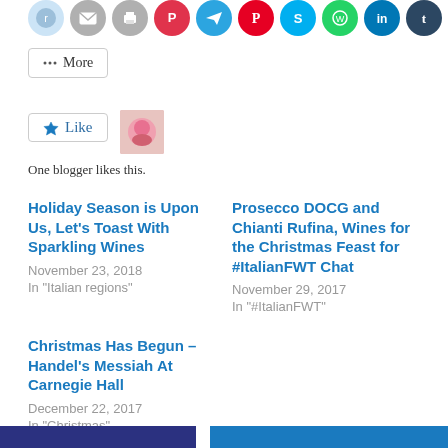[Figure (illustration): Row of social media sharing icon circles: Reddit, email, print, Pocket, Telegram, Pinterest, Skype, WhatsApp, LinkedIn, Tumblr]
More
[Figure (illustration): Like button with star icon and a small flower avatar thumbnail. Text: One blogger likes this.]
One blogger likes this.
Holiday Season is Upon Us, Let's Toast With Sparkling Wines
November 23, 2018
In "Italian regions"
Prosecco DOCG and Chianti Rufina, Wines for the Christmas Feast for #ItalianFWT Chat
November 29, 2017
In "#ItalianFWT"
Christmas Has Begun – Handel's Messiah At Carnegie Hall
December 22, 2017
In "Christmas"